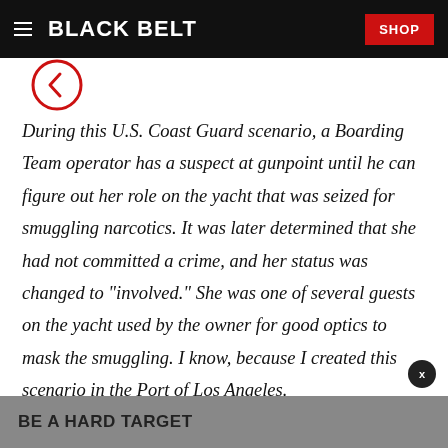BLACK BELT  SHOP
[Figure (illustration): Partial circular back-arrow icon in red, partially cropped at top of page]
During this U.S. Coast Guard scenario, a Boarding Team operator has a suspect at gunpoint until he can figure out her role on the yacht that was seized for smuggling narcotics. It was later determined that she had not committed a crime, and her status was changed to "involved." She was one of several guests on the yacht used by the owner for good optics to mask the smuggling. I know, because I created this scenario in the Port of Los Angeles.
BE A HARD TARGET